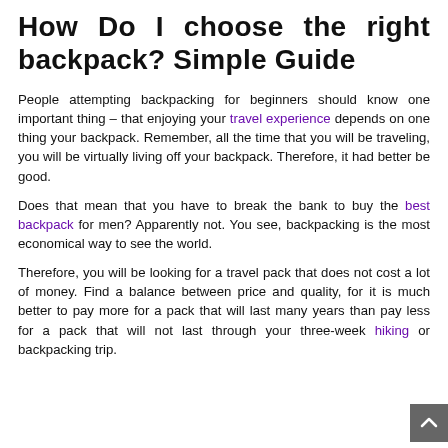How Do I choose the right backpack? Simple Guide
People attempting backpacking for beginners should know one important thing – that enjoying your travel experience depends on one thing your backpack. Remember, all the time that you will be traveling, you will be virtually living off your backpack. Therefore, it had better be good.
Does that mean that you have to break the bank to buy the best backpack for men? Apparently not. You see, backpacking is the most economical way to see the world.
Therefore, you will be looking for a travel pack that does not cost a lot of money. Find a balance between price and quality, for it is much better to pay more for a pack that will last many years than pay less for a pack that will not last through your three-week hiking or backpacking trip.